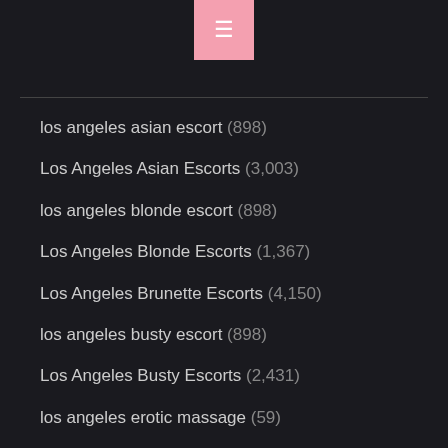≡
los angeles asian escort (898)
Los Angeles Asian Escorts (3,003)
los angeles blonde escort (898)
Los Angeles Blonde Escorts (1,367)
Los Angeles Brunette Escorts (4,150)
los angeles busty escort (898)
Los Angeles Busty Escorts (2,431)
los angeles erotic massage (59)
los angeles escort (442)
Los Angeles Escort Agency (811)